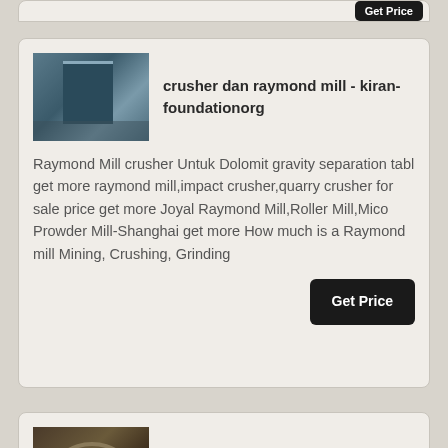[Figure (screenshot): Partial top of a search result card with a Get Price button visible at top right]
[Figure (photo): Photo of an industrial crusher/mill facility with blue sky background]
crusher dan raymond mill - kiran-foundationorg
Raymond Mill crusher Untuk Dolomit gravity separation tabl get more raymond mill,impact crusher,quarry crusher for sale price get more Joyal Raymond Mill,Roller Mill,Mico Prowder Mill-Shanghai get more How much is a Raymond mill Mining, Crushing, Grinding
[Figure (photo): Photo of Raymond Mill grinding machinery with pipes and metal components]
Raymond Mill,Grinding Plant,Raymond Grinding Mill - ,
Brief Introduction to Raymond Mill Raymond mill is